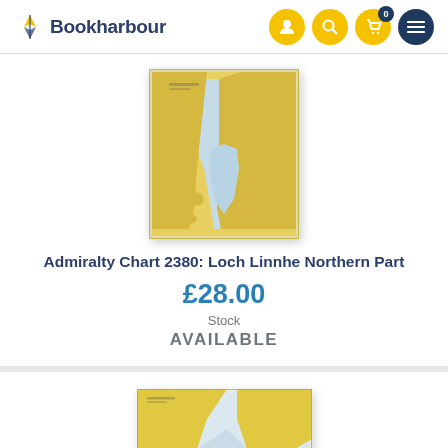Bookharbour
[Figure (photo): Admiralty nautical chart 2380 showing Loch Linnhe Northern Part, yellow land with blue-green water channels]
Admiralty Chart 2380: Loch Linnhe Northern Part
£28.00
Stock
AVAILABLE
[Figure (photo): Partial view of another Admiralty nautical chart showing coastal waters with yellow land masses]